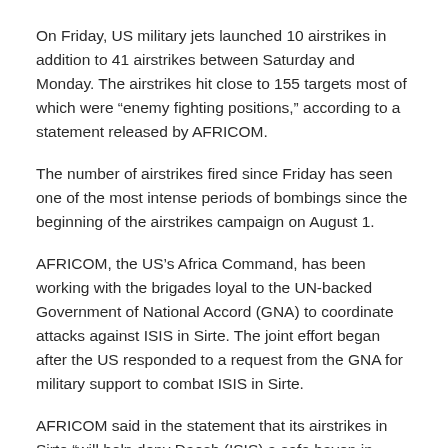On Friday, US military jets launched 10 airstrikes in addition to 41 airstrikes between Saturday and Monday. The airstrikes hit close to 155 targets most of which were “enemy fighting positions,” according to a statement released by AFRICOM.
The number of airstrikes fired since Friday has seen one of the most intense periods of bombings since the beginning of the airstrikes campaign on August 1.
AFRICOM, the US’s Africa Command, has been working with the brigades loyal to the UN-backed Government of National Accord (GNA) to coordinate attacks against ISIS in Sirte. The joint effort began after the US responded to a request from the GNA for military support to combat ISIS in Sirte.
AFRICOM said in the statement that its airstrikes in Sirte “will help deny Daesh (ISIS) a safe haven in Libya from which it could attack the Unites States and our allies.”
The statement also mentioned that “the US stands with the